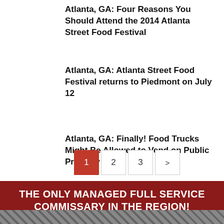Atlanta, GA: Four Reasons You Should Attend the 2014 Atlanta Street Food Festival
Atlanta, GA: Atlanta Street Food Festival returns to Piedmont on July 12
Atlanta, GA: Finally! Food Trucks Might Be Allowed to Vend on Public Property
1
2
3
>
THE ONLY MANAGED FULL SERVICE COMMISSARY IN THE REGION!
[Figure (photo): Bottom strip of a food-related image, partially visible at the bottom of the page]